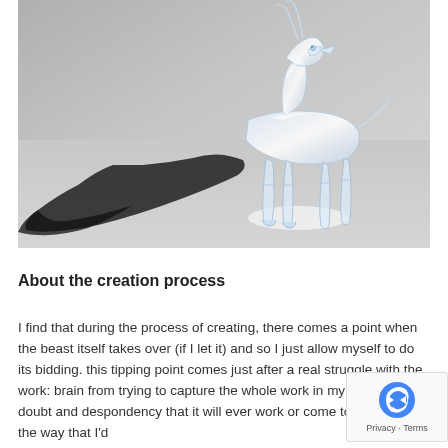[Figure (photo): A transparent/clear plastic or glass sculpture of a goat-like animal with horns, casting a dark shadow on a grey background. The sculpture appears to be a deer or antelope figure made of clear acrylic or similar material, with visible joints and structural elements.]
About the creation process
I find that during the process of creating, there comes a point when the beast itself takes over (if I let it) and so I just allow myself to do its bidding. this tipping point comes just after a real struggle with the work: brain from trying to capture the whole work in my head in 3D; doubt and despondency that it will ever work or come to fruition in the way that I'd